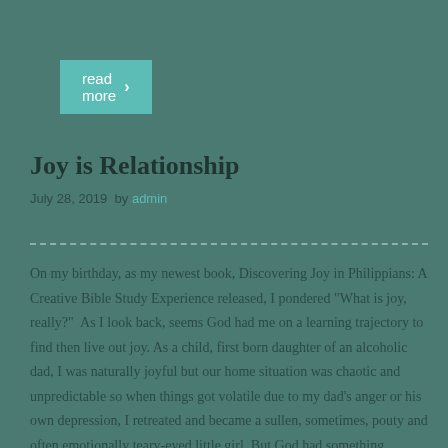[Figure (other): Teal 'read more >' button]
Joy is Relationship
July 28, 2019  by admin
On my birthday, as my newest book, Discovering Joy in Philippians: A Creative Bible Study Experience released, I pondered "What is joy, really?"  As I look back, seems God had me on a learning trajectory to find then live out joy. As a child, first born daughter of an alcoholic dad, I was naturally joyful but our home situation was chaotic and unpredictable so when things got volatile due to my dad's anger or his own depression, I retreated and became a sullen, sometimes, pouty and often emotionally teary-eyed little girl. But God had something greater, something better for me…